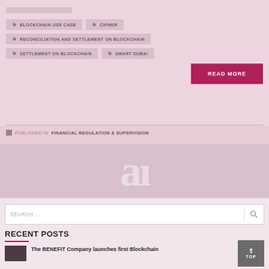BLOCKCHAIN USE CASE
CIPHER
RECONCILIATION AND SETTLEMENT ON BLOCKCHAIN
SETTLEMENT ON BLOCKCHAIN
SMART DUBAI
READ MORE
PUBLISHED IN FINANCIAL REGULATION & SUPERVISION
[Figure (logo): Watermark logo showing stylized letter a]
SEARCH ...
RECENT POSTS
The BENEFIT Company launches first Blockchain